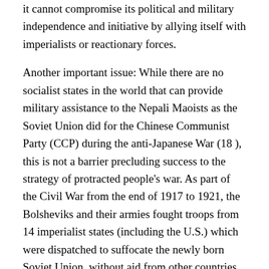it cannot compromise its political and military independence and initiative by allying itself with imperialists or reactionary forces.
Another important issue: While there are no socialist states in the world that can provide military assistance to the Nepali Maoists as the Soviet Union did for the Chinese Communist Party (CCP) during the anti-Japanese War (18 ), this is not a barrier precluding success to the strategy of protracted people’s war. As part of the Civil War from the end of 1917 to 1921, the Bolsheviks and their armies fought troops from 14 imperialist states (including the U.S.) which were dispatched to suffocate the newly born Soviet Union, without aid from other countries.
Winning Over the Middle Forces
Some comrades have argued that the Nepal Maoists need